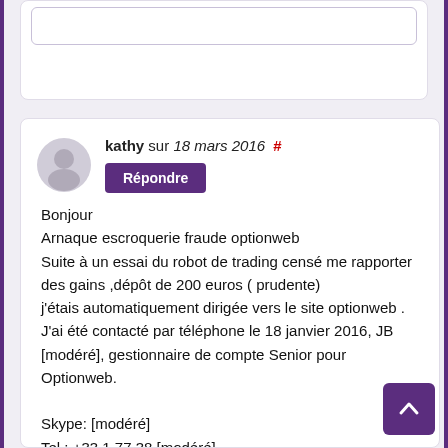kathy sur 18 mars 2016 #
Répondre
Bonjour
Arnaque escroquerie fraude optionweb
Suite à un essai du robot de trading censé me rapporter des gains ,dépôt de 200 euros ( prudente)
j'étais automatiquement dirigée vers le site optionweb .
J'ai été contacté par téléphone le 18 janvier 2016, JB [modéré], gestionnaire de compte Senior pour Optionweb.

Skype: [modéré]
Tel : +33 1 77 38 [modéré]

Ce gestionnaire m'as demandé d'arrêter ce